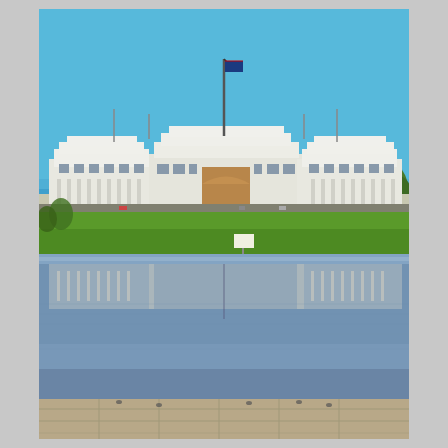[Figure (photo): Photograph of Old Parliament House in Canberra, Australia, viewed from across a reflecting pool. The white neoclassical building is set against a clear blue sky, with green lawns in front. The building's reflection is clearly visible in the still water of the pool. A flagpole with the Australian flag is visible atop the roof. Trees are visible on the right side. Stone pavement is visible in the foreground at the water's edge.]